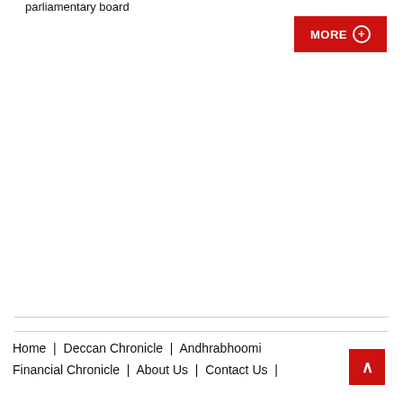parliamentary board
MORE +
Home | Deccan Chronicle | Andhrabhoomi | Financial Chronicle | About Us | Contact Us |